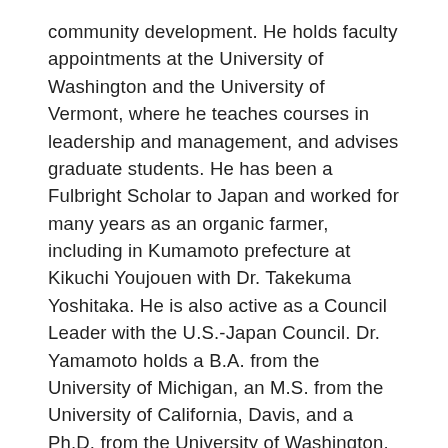community development. He holds faculty appointments at the University of Washington and the University of Vermont, where he teaches courses in leadership and management, and advises graduate students. He has been a Fulbright Scholar to Japan and worked for many years as an organic farmer, including in Kumamoto prefecture at Kikuchi Youjouen with Dr. Takekuma Yoshitaka. He is also active as a Council Leader with the U.S.-Japan Council. Dr. Yamamoto holds a B.A. from the University of Michigan, an M.S. from the University of California, Davis, and a Ph.D. from the University of Washington.
Prefecture in Japan of ancestral origins: maternal side from Kumamoto, paternal side from Hiroshima.